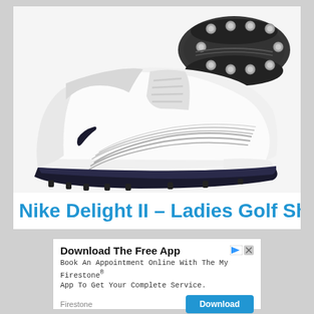[Figure (photo): Nike Delight II Ladies Golf Shoes in White/Silver colorway. Main image shows the shoe from the side — white leather upper with silver stripes, black Nike swoosh, and black spiked sole. Secondary image in top-right shows the bottom/sole view of the shoe with metal spikes. Color label reads 'White / Silver'.]
Nike Delight II – Ladies Golf Shoes
Download The Free App
Book An Appointment Online With The My Firestone® App To Get Your Complete Service.
Firestone
Download